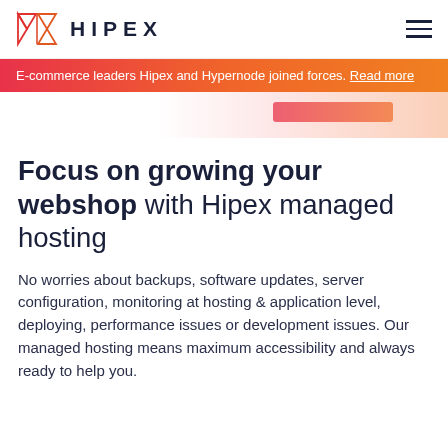HIPEX
E-commerce leaders Hipex and Hypernode joined forces. Read more
[Figure (other): Decorative hero strip with a pink/orange gradient button element]
Focus on growing your webshop with Hipex managed hosting
No worries about backups, software updates, server configuration, monitoring at hosting & application level, deploying, performance issues or development issues. Our managed hosting means maximum accessibility and always ready to help you.